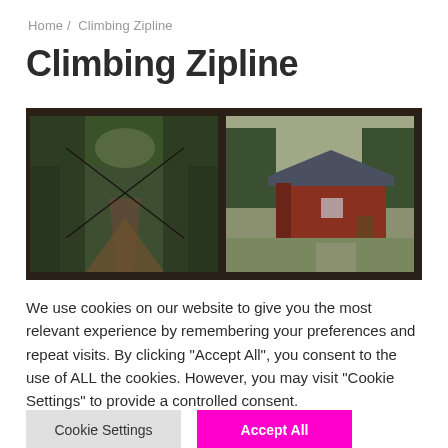Home /  Climbing Zipline
Climbing Zipline
[Figure (photo): Two overlapping photographs: left shows a forest zipline/path through tall trees with a tent/peak shape in foreground; right shows a red cabin building with trees and lawn area.]
We use cookies on our website to give you the most relevant experience by remembering your preferences and repeat visits. By clicking "Accept All", you consent to the use of ALL the cookies. However, you may visit "Cookie Settings" to provide a controlled consent.
Cookie Settings   Accept All